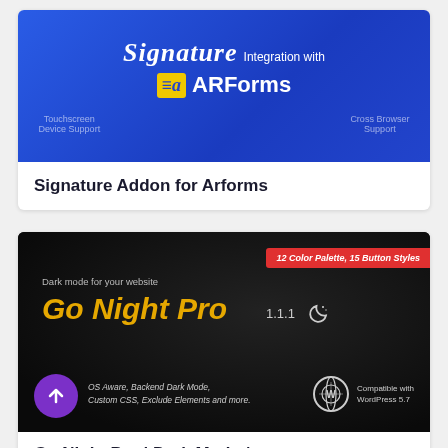[Figure (screenshot): Signature Integration with ARForms plugin banner on blue background showing Touchscreen Device Support and Cross Browser Support text]
Signature Addon for Arforms
[Figure (screenshot): Go Night Pro dark mode WordPress plugin banner on dark background. Shows '12 Color Palette, 15 Button Styles' badge. Text: Dark mode for your website, Go Night Pro 1.1.1, OS Aware, Backend Dark Mode, Custom CSS, Exclude Elements and more. Compatible with WordPress 5.7]
Go Night Pro | Dark Mode /